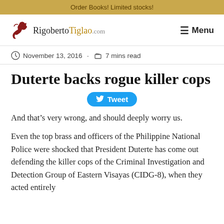Order Books! Limited stocks!
[Figure (logo): RigobertoTiglao.com website logo with stylized bird/figure icon and site name]
≡ Menu
November 13, 2016  -  7 mins read
Duterte backs rogue killer cops
Tweet
And that’s very wrong, and should deeply worry us.
Even the top brass and officers of the Philippine National Police were shocked that President Duterte has come out defending the killer cops of the Criminal Investigation and Detection Group of Eastern Visayas (CIDG-8), when they acted entirely